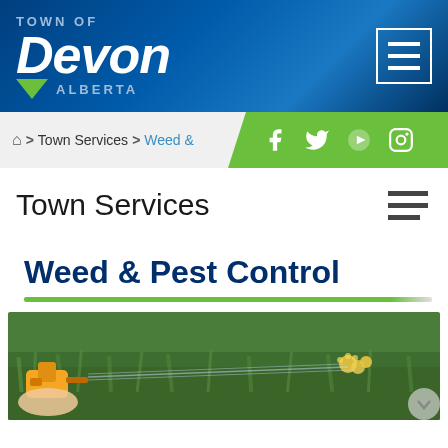[Figure (logo): Town of Devon Alberta logo with white italic Devon text and green triangle, on dark blue gradient background. Menu hamburger button top right.]
Home > Town Services > Weed &
[Figure (infographic): Social media icons bar (Facebook, Twitter, YouTube, Instagram) on green background]
Town Services
Weed & Pest Control
[Figure (photo): Photo of a hand holding a yellow spray bottle spraying herbicide on dandelions in grass]